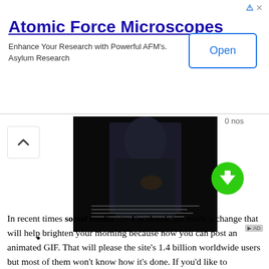[Figure (screenshot): Advertisement banner for Atomic Force Microscopes by Asylum Research with Open button]
[Figure (photo): Dark thumbnail image of a person in a suit with text overlay, likely a motivational quote image]
[Figure (other): Green circular download button with downward arrow icon]
•
In recent times social media site Facebook has made a change that will help brighten your morning because now you can post an animated GIF. That will please the site's 1.4 billion worldwide users but most of them won't know how it's done. If you'd like to